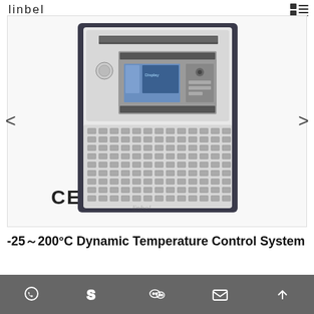linbel
[Figure (photo): Industrial dynamic temperature control system unit with CE marking, dark case with front panel showing display screen and controls in upper half, ventilation grille in lower half]
-25~200°C Dynamic Temperature Control System